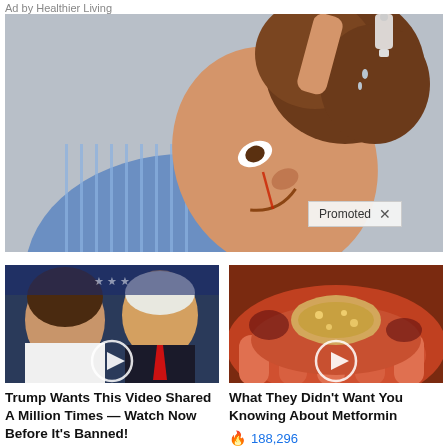Ad by Healthier Living
[Figure (photo): Man tilting his head sideways, pouring liquid from a small bottle onto his head, wearing a blue striped shirt, with curly brown hair]
Promoted X
[Figure (photo): Video thumbnail showing a man and woman (resembling Donald Trump and Melania Trump) with a play button overlay]
Trump Wants This Video Shared A Million Times — Watch Now Before It's Banned!
🔥 48,999
[Figure (photo): Video thumbnail showing a close-up of a hand holding what appears to be a worm or parasite with medical/biological imagery, with a play button overlay]
What They Didn't Want You Knowing About Metformin
🔥 188,296